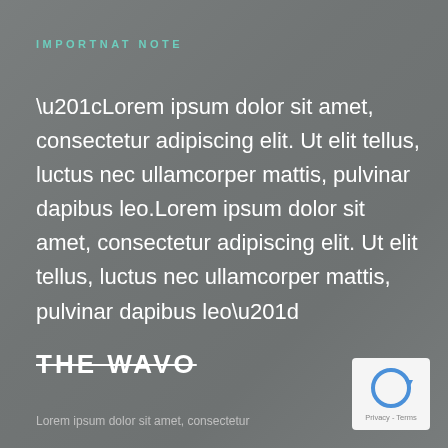IMPORTNAT NOTE
“Lorem ipsum dolor sit amet, consectetur adipiscing elit. Ut elit tellus, luctus nec ullamcorper mattis, pulvinar dapibus leo.Lorem ipsum dolor sit amet, consectetur adipiscing elit. Ut elit tellus, luctus nec ullamcorper mattis, pulvinar dapibus leo”
[Figure (logo): THE WAVO logo with strikethrough text]
Lorem ipsum dolor sit amet, consectetur